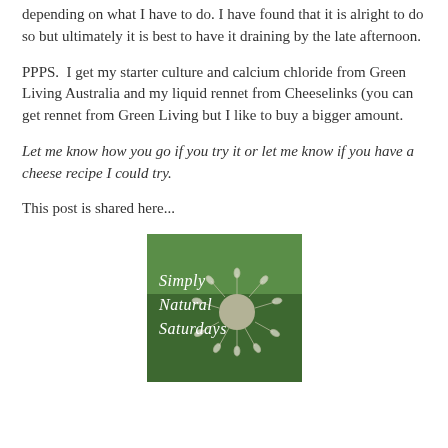depending on what I have to do. I have found that it is alright to do so but ultimately it is best to have it draining by the late afternoon.
PPPS.  I get my starter culture and calcium chloride from Green Living Australia and my liquid rennet from Cheeselinks (you can get rennet from Green Living but I like to buy a bigger amount.
Let me know how you go if you try it or let me know if you have a cheese recipe I could try.
This post is shared here...
[Figure (illustration): A square image with a dandelion seed head on a green background, with the text 'Simply Natural Saturdays' in a handwritten white font overlaid on the image.]